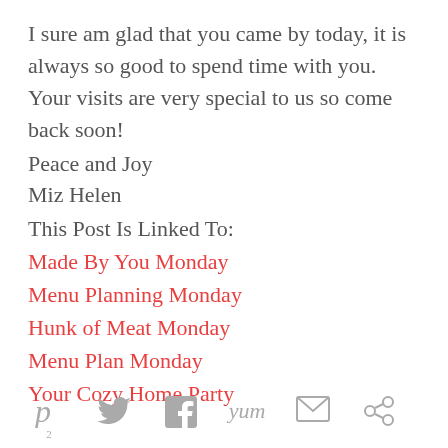I sure am glad that you came by today, it is always so good to spend time with you. Your visits are very special to us so come back soon!
Peace and Joy
Miz Helen
This Post Is Linked To:
Made By You Monday
Menu Planning Monday
Hunk of Meat Monday
Menu Plan Monday
Your Cozy Home Party
[Figure (other): Social sharing icons: Pinterest (with count 2), Twitter, Facebook, Yum, Email, other share button]